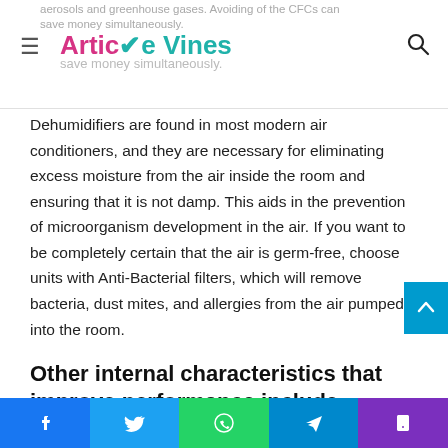aerosols and greenhouse gases. Avoiding of the CFCs can save money simultaneously. [Article Vines logo header with hamburger menu and search icon]
Dehumidifiers are found in most modern air conditioners, and they are necessary for eliminating excess moisture from the air inside the room and ensuring that it is not damp. This aids in the prevention of microorganism development in the air. If you want to be completely certain that the air is germ-free, choose units with Anti-Bacterial filters, which will remove bacteria, dust mites, and allergies from the air pumped into the room.
Other internal characteristics that improve performance include:
Corrosion-resistant copper-coated condensers.
Facebook | Twitter | WhatsApp | Telegram | Phone